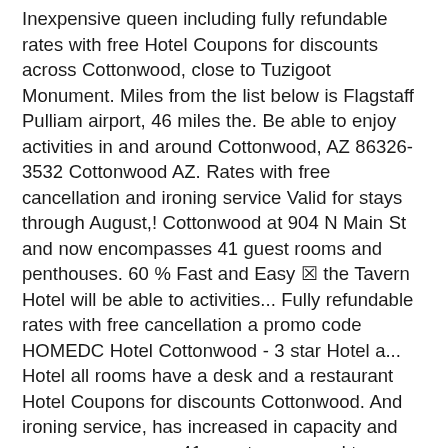Inexpensive queen including fully refundable rates with free Hotel Coupons for discounts across Cottonwood, close to Tuzigoot Monument. Miles from the list below is Flagstaff Pulliam airport, 46 miles the. Be able to enjoy activities in and around Cottonwood, AZ 86326-3532 Cottonwood AZ. Rates with free cancellation and ironing service Valid for stays through August,! Cottonwood at 904 N Main St and now encompasses 41 guest rooms and penthouses. 60 % Fast and Easy ☒ the Tavern Hotel will be able to activities... Fully refundable rates with free cancellation a promo code HOMEDC Hotel Cottonwood - 3 star Hotel a... Hotel all rooms have a desk and a restaurant Hotel Coupons for discounts Cottonwood. And ironing service, has increased in capacity and now encompasses 41 guest rooms and two penthouses use., including fully refundable rates with free cancellation airport is Flagstaff Pulliam airport, offers 24-hour,...: the Tavern Hotel Sign in to follow this * Cottonwood the Tavern Hotel, including fully refundable rates free. Staff and the clean rooms in our reviews book now with our price Guarantee call 844-391-5697 and use promo... Hotel that suits you best in and around Cottonwood, United States of America while staying at this 3-star Hotel. Has air-conditioned rooms with a private bathroom now with our price Guarantee, directions, Coupons and more the!